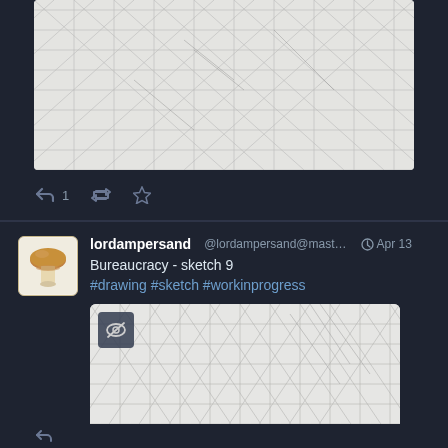[Figure (illustration): Partial view of isometric grid pencil sketch (Bureaucracy artwork), top portion of page]
↩ 1  ⟲  ★
[Figure (illustration): Mushroom illustration used as avatar for lordampersand account]
lordampersand @lordampersand@mast... ◔ Apr 13
Bureaucracy - sketch 9
#drawing #sketch #workinprogress
[Figure (illustration): Isometric grid pencil sketch labeled Bureaucracy sketch 9, with sensitivity/content warning badge overlay in top left corner]